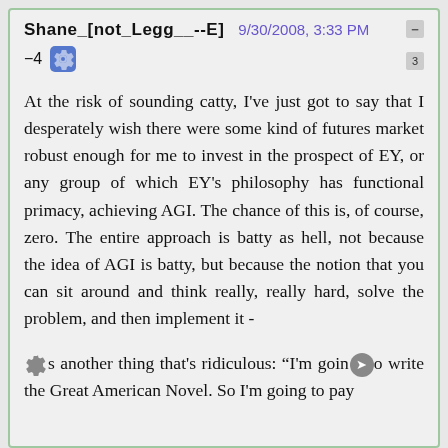Shane_[not_Legg__--E]   9/30/2008, 3:33 PM
-4
At the risk of sounding catty, I've just got to say that I desperately wish there were some kind of futures market robust enough for me to invest in the prospect of EY, or any group of which EY's philosophy has functional primacy, achieving AGI. The chance of this is, of course, zero. The entire approach is batty as hell, not because the idea of AGI is batty, but because the notion that you can sit around and think really, really hard, solve the problem, and then implement it -
Here's another thing that's ridiculous: "I'm going to write the Great American Novel. So I'm going to pay